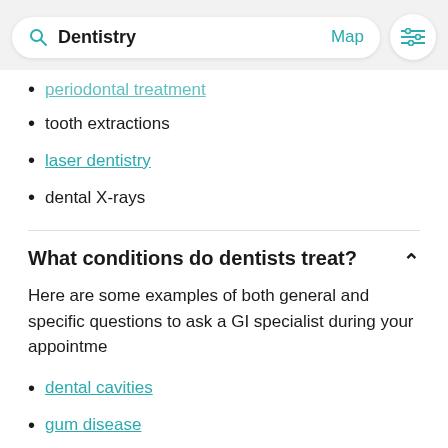[Figure (screenshot): Search bar showing 'Dentistry' with Map link and filter icon]
periodontal treatment (truncated/partially visible link)
tooth extractions
laser dentistry
dental X-rays
What conditions do dentists treat?
Here are some examples of both general and specific questions to ask a GI specialist during your appointment
dental cavities
gum disease
dry mouth
fungal infections
mouth sores
impaired taste